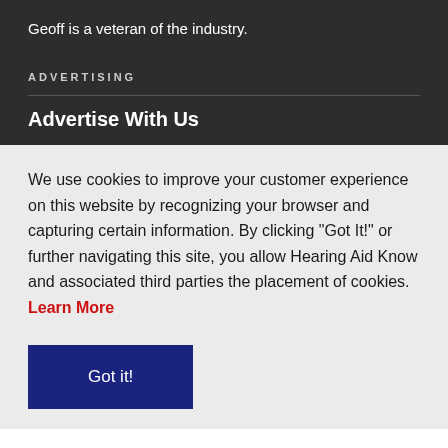Geoff is a veteran of the industry.
ADVERTISING
Advertise With Us
We use cookies to improve your customer experience on this website by recognizing your browser and capturing certain information. By clicking “Got It!” or further navigating this site, you allow Hearing Aid Know and associated third parties the placement of cookies. Learn More
Got it!